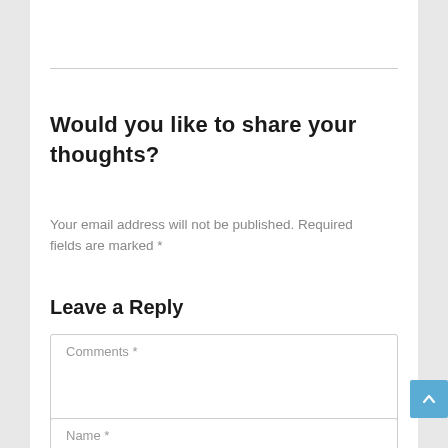Would you like to share your thoughts?
Your email address will not be published. Required fields are marked *
Leave a Reply
Comments *
Name *